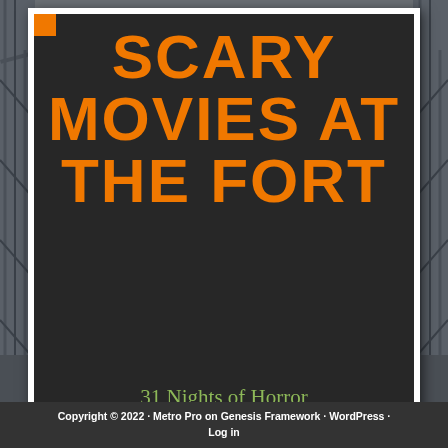[Figure (photo): Background photo of steel roller coaster or scaffolding structure in gray tones]
SCARY MOVIES AT THE FORT
31 Nights of Horror Every October
Copyright © 2022 · Metro Pro on Genesis Framework · WordPress · Log in